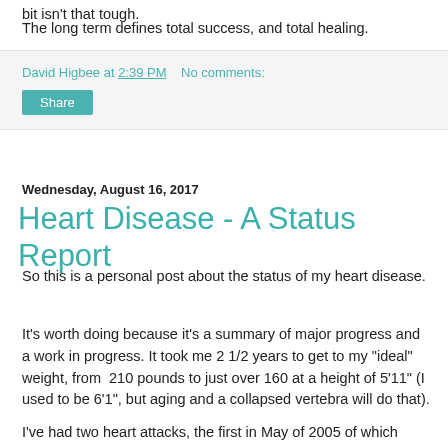bit isn't that tough.
The long term defines total success, and total healing.
David Higbee at 2:39 PM   No comments:
Share
Wednesday, August 16, 2017
Heart Disease - A Status Report
So this is a personal post about the status of my heart disease.
It's worth doing because it's a summary of major progress and a work in progress. It took me 2 1/2 years to get to my "ideal" weight, from  210 pounds to just over 160 at a height of 5'11" (I used to be 6'1", but aging and a collapsed vertebra will do that).
I've had two heart attacks, the first in May of 2005 of which